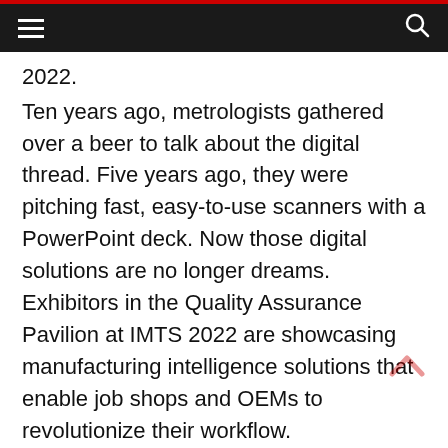≡  🔍
2022.
Ten years ago, metrologists gathered over a beer to talk about the digital thread. Five years ago, they were pitching fast, easy-to-use scanners with a PowerPoint deck. Now those digital solutions are no longer dreams. Exhibitors in the Quality Assurance Pavilion at IMTS 2022 are showcasing manufacturing intelligence solutions that enable job shops and OEMs to revolutionize their workflow.
Technologies making their debut in the QA Pavilion include: